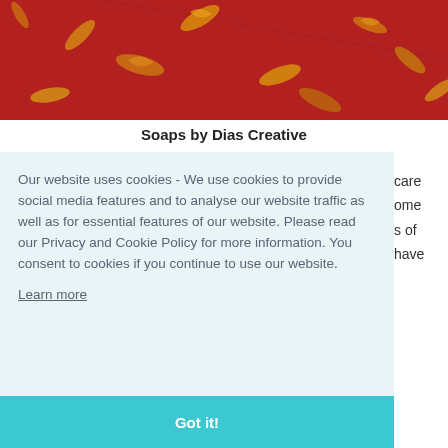[Figure (photo): Dried orange and yellow autumn leaves scattered on a red fabric background]
Soaps by Dias Creative
Our website uses cookies - We use cookies to provide social media features and to analyse our website traffic as well as for essential features of our website. Please read our Privacy and Cookie Policy for more information. You consent to cookies if you continue to use our website.
Learn more
Got it!